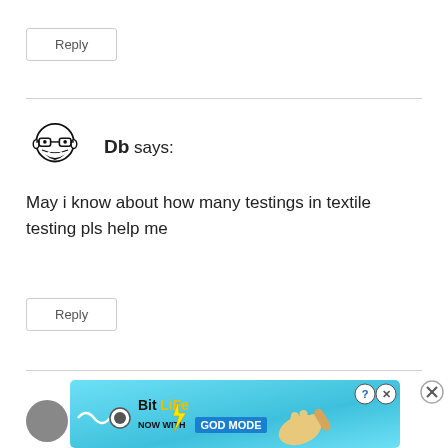Reply
Db says:
May i know about how many testings in textile testing pls help me
Reply
[Figure (screenshot): BitLife advertisement banner: 'NOW WITH GOD MODE' on a blue background with lightning bolt and hand pointing graphic. Includes close button (X) and help button (?).]